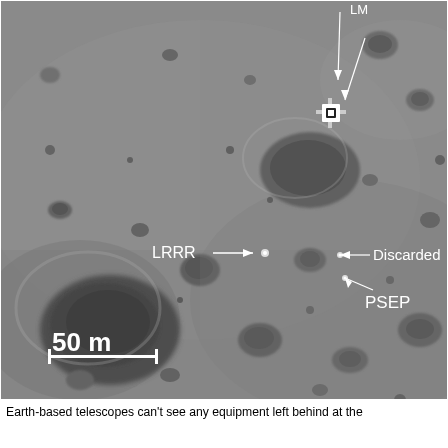[Figure (photo): Lunar Reconnaissance Orbiter Camera (LROC) image of the Apollo 11 landing site on the Moon showing the lunar module (LM), LRRR (Lunar Ranging Retro Reflector), Discarded equipment, and PSEP (Passive Seismic Experiment Package) labeled with arrows. A scale bar of 50 m is shown in the lower left corner. The surface is gray and cratered.]
Earth-based telescopes can't see any equipment left behind at the